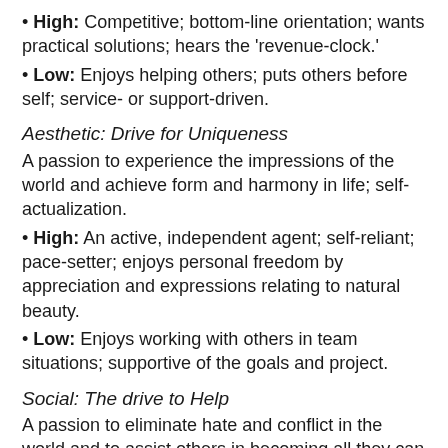• High: Competitive; bottom-line orientation; wants practical solutions; hears the 'revenue-clock.'
• Low: Enjoys helping others; puts others before self; service- or support-driven.
Aesthetic: Drive for Uniqueness
A passion to experience the impressions of the world and achieve form and harmony in life; self-actualization.
• High: An active, independent agent; self-reliant; pace-setter; enjoys personal freedom by appreciation and expressions relating to natural beauty.
• Low: Enjoys working with others in team situations; supportive of the goals and project.
Social: The drive to Help
A passion to eliminate hate and conflict in the world and to assist others in becoming all they can be.